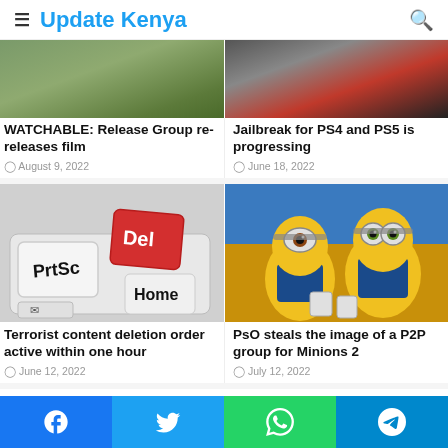Update Kenya
[Figure (photo): Partial photo of outdoor scene (crops/nature) - top left article image]
[Figure (photo): Partial dark/dramatic photo - top right article image]
WATCHABLE: Release Group re-releases film
August 9, 2022
Jailbreak for PS4 and PS5 is progressing
June 18, 2022
[Figure (photo): Keyboard with PrtSc, Del (red key), Home keys visible]
[Figure (photo): Minions characters from the movie Minions 2]
Terrorist content deletion order active within one hour
June 12, 2022
PsO steals the image of a P2P group for Minions 2
July 12, 2022